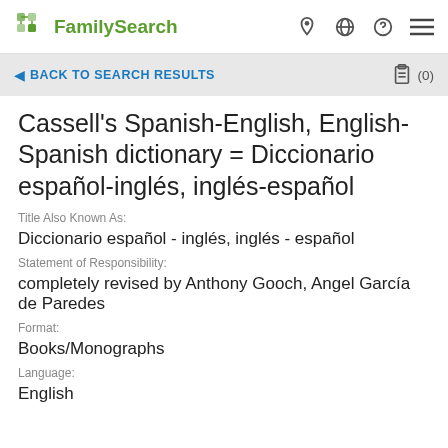FamilySearch
BACK TO SEARCH RESULTS
Cassell's Spanish-English, English-Spanish dictionary = Diccionario español-inglés, inglés-español
Title Also Known As:
Diccionario español - inglés, inglés - español
Statement of Responsibility:
completely revised by Anthony Gooch, Angel García de Paredes
Format:
Books/Monographs
Language:
English